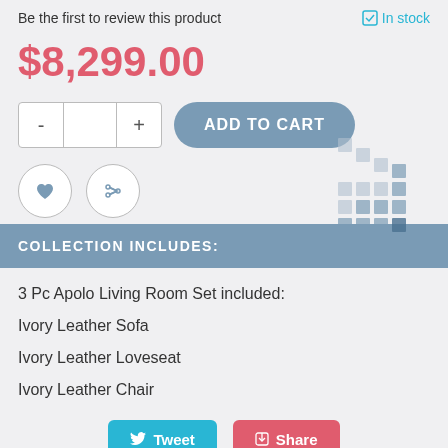Be the first to review this product
In stock
$8,299.00
ADD TO CART
COLLECTION INCLUDES:
3 Pc Apolo Living Room Set included:
Ivory Leather Sofa
Ivory Leather Loveseat
Ivory Leather Chair
Tweet
Share